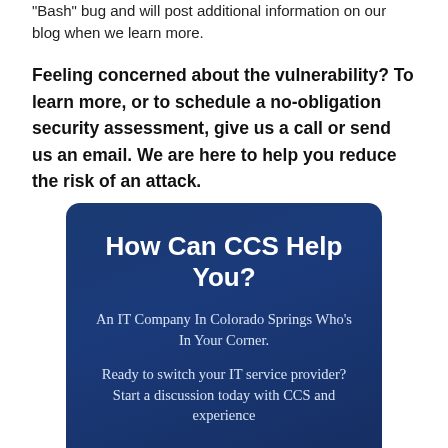'Bash' bug and will post additional information on our blog when we learn more.
Feeling concerned about the vulnerability? To learn more, or to schedule a no-obligation security assessment, give us a call or send us an email. We are here to help you reduce the risk of an attack.
How Can CCS Help You?
An IT Company In Colorado Springs Who's In Your Corner.
Ready to switch your IT service provider? Start a discussion today with CCS and experience